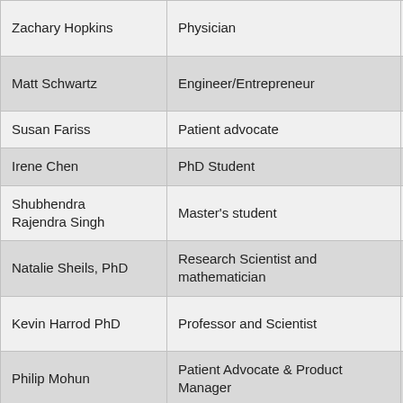| Name | Role | Organization |
| --- | --- | --- |
| Zachary Hopkins | Physician | center, Utah |
| Matt Schwartz | Engineer/Entrepreneur | Virgo Su Solutions: |
| Susan Fariss | Patient advocate |  |
| Irene Chen | PhD Student | MIT |
| Shubhendra Rajendra Singh | Master's student | Texas A& Universi |
| Natalie Sheils, PhD | Research Scientist and mathematician | UnitedHe |
| Kevin Harrod PhD | Professor and Scientist | Univ of A Birmingh |
| Philip Mohun | Patient Advocate & Product Manager | Anthem |
| Steven Ryan, Ph.D. | Senior Computational Neuroscientist | Q-State Bioscien |